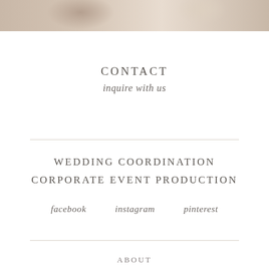[Figure (photo): Partial view of a styled table setting or floral arrangement in muted beige and brown tones, cropped at the top of the page]
CONTACT
inquire with us
WEDDING COORDINATION
CORPORATE EVENT PRODUCTION
facebook
instagram
pinterest
ABOUT